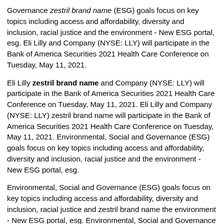Governance zestril brand name (ESG) goals focus on key topics including access and affordability, diversity and inclusion, racial justice and the environment - New ESG portal, esg. Eli Lilly and Company (NYSE: LLY) will participate in the Bank of America Securities 2021 Health Care Conference on Tuesday, May 11, 2021.
Eli Lilly zestril brand name and Company (NYSE: LLY) will participate in the Bank of America Securities 2021 Health Care Conference on Tuesday, May 11, 2021. Eli Lilly and Company (NYSE: LLY) zestril brand name will participate in the Bank of America Securities 2021 Health Care Conference on Tuesday, May 11, 2021. Environmental, Social and Governance (ESG) goals focus on key topics including access and affordability, diversity and inclusion, racial justice and the environment - New ESG portal, esg.
Environmental, Social and Governance (ESG) goals focus on key topics including access and affordability, diversity and inclusion, racial justice and zestril brand name the environment - New ESG portal, esg. Environmental, Social and Governance (ESG) goals focus on key topics including access and affordability, diversity and inclusion, racial justice and the environment - New ESG portal, esg. Eli Lilly zestril brand name and Company (NYSE: LLY) will participate in the Bank of America Securities 2021 Health Care Conference on Tuesday, May 11, 2021.